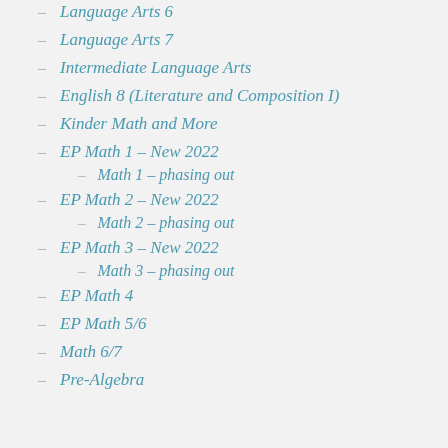Language Arts 6
Language Arts 7
Intermediate Language Arts
English 8 (Literature and Composition I)
Kinder Math and More
EP Math 1 – New 2022
Math 1 – phasing out
EP Math 2 – New 2022
Math 2 – phasing out
EP Math 3 – New 2022
Math 3 – phasing out
EP Math 4
EP Math 5/6
Math 6/7
Pre-Algebra